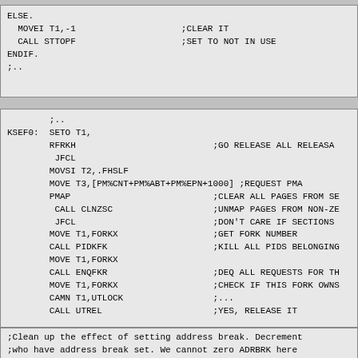ELSE.
  MOVEI T1,-1         ;CLEAR IT
  CALL STTOPF         ;SET TO NOT IN USE
ENDIF.
;..
KSEF0:  ;..
        SETO T1,
        RFRKH                       ;GO RELEASE ALL RELEASABLE FORKS
         JFCL
        MOVSI T2,.FHSLF
        MOVE T3,[PM%CNT+PM%ABT+PM%EPN+1000] ;REQUEST PMAP
        PMAP                        ;CLEAR ALL PAGES FROM SECTIONS
         CALL CLNZSC                ;UNMAP PAGES FROM NON-ZERO
         JFCL                       ;DON'T CARE IF SECTIONS
        MOVE T1,FORKX               ;GET FORK NUMBER
        CALL PIDKFK                 ;KILL ALL PIDS BELONGING
        MOVE T1,FORKX
        CALL ENQFKR                 ;DEQ ALL REQUESTS FOR THIS FORK
        MOVE T1,FORKX               ;CHECK IF THIS FORK OWNS
        CAMN T1,UTLOCK              ;...
        CALL UTREL                  ;YES, RELEASE IT
;Clean up the effect of setting address break. Decrement
;who have address break set. We cannot zero ADRBRK here
;is still turned on in the hardware. When the process go
;go through KISSAV, which will turn off address break in
;that this code must not be executed twice for this fork